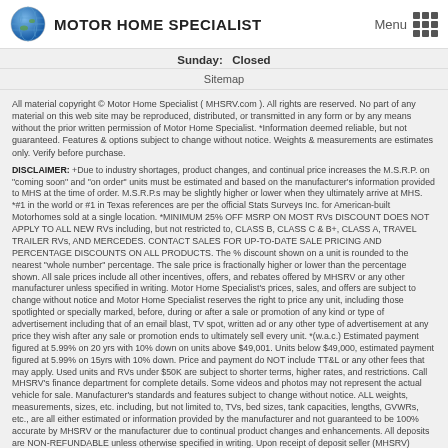MOTOR HOME SPECIALIST
Sunday: Closed
Sitemap
All material copyright © Motor Home Specialist ( MHSRV.com ). All rights are reserved. No part of any material on this web site may be reproduced, distributed, or transmitted in any form or by any means without the prior written permission of Motor Home Specialist. *Information deemed reliable, but not guaranteed. Features & options subject to change without notice. Weights & measurements are estimates only. Verify before purchase.
DISCLAIMER: +Due to industry shortages, product changes, and continual price increases the M.S.R.P. on "coming soon" and "on order" units must be estimated and based on the manufacturer's information provided to MHS at the time of order. M.S.R.P.s may be slightly higher or lower when they ultimately arrive at MHS. *#1 in the world or #1 in Texas references are per the official Stats Surveys Inc. for American-built Motorhomes sold at a single location. *MINIMUM 25% OFF MSRP ON MOST RVs DISCOUNT DOES NOT APPLY TO ALL NEW RVs including, but not restricted to, CLASS B, CLASS C & B+, CLASS A, TRAVEL TRAILER RVs, AND MERCEDES. CONTACT SALES FOR UP-TO-DATE SALE PRICING AND PERCENTAGE DISCOUNTS ON ALL PRODUCTS. The % discount shown on a unit is rounded to the nearest "whole number" percentage. The sale price is fractionally higher or lower than the percentage shown. All sale prices include all other incentives, offers, and rebates offered by MHSRV or any other manufacturer unless specified in writing. Motor Home Specialist's prices, sales, and offers are subject to change without notice and Motor Home Specialist reserves the right to price any unit, including those spotlighted or specially marked, before, during or after a sale or promotion of any kind or type of advertisement including that of an email blast, TV spot, written ad or any other type of advertisement at any price they wish after any sale or promotion ends to ultimately sell every unit. *(w.a.c.) Estimated payment figured at 5.99% on 20 yrs with 10% down on units above $49,001. Units below $49,000, estimated payment figured at 5.99% on 15yrs with 10% down. Price and payment do NOT include TT&L or any other fees that may apply. Used units and RVs under $50K are subject to shorter terms, higher rates, and restrictions. Call MHSRV's finance department for complete details. Some videos and photos may not represent the actual vehicle for sale. Manufacturer's standards and features subject to change without notice. ALL weights, measurements, sizes, etc. including, but not limited to, TVs, bed sizes, tank capacities, lengths, GVWRs, etc., are all either estimated or information provided by the manufacturer and not guaranteed to be 100% accurate by MHSRV or the manufacturer due to continual product changes and enhancements. All deposits are NON-REFUNDABLE unless otherwise specified in writing. Upon receipt of deposit seller (MHSRV) agrees to hold the selected unit and prepare it for delivery and orientation to the buyer. Buyer understands and agrees that by leaving said NON-REFUNDABLE deposit they are asking MHS to prepare their purchase for delivery and orientation and should they fail to pay for their purchase by the specified delivery date they will forfeit the NON-REFUNDABLE